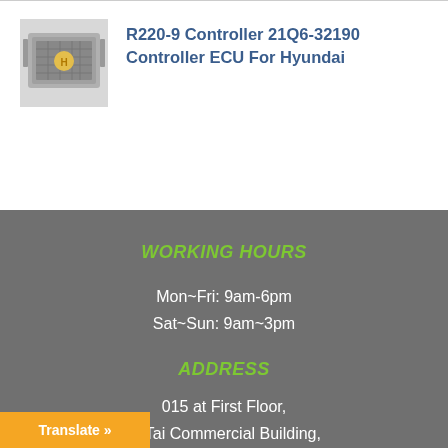[Figure (photo): Photo of R220-9 Controller ECU module for Hyundai - a gray rectangular electronic control unit]
R220-9 Controller 21Q6-32190 Controller ECU For Hyundai
WORKING HOURS
Mon~Fri: 9am-6pm
Sat~Sun: 9am~3pm
ADDRESS
015 at First Floor, ngTai Commercial Building,
Translate »